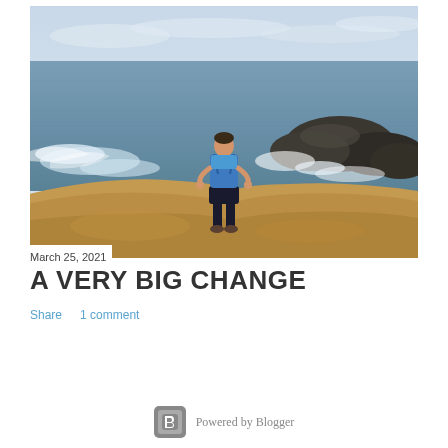[Figure (photo): Person in blue shirt and blue running vest standing on a rocky coastal outcrop overlooking the ocean, viewed from behind. Dark rocks and waves visible in background, overcast sky.]
March 25, 2021
A VERY BIG CHANGE
Share    1 comment
Powered by Blogger